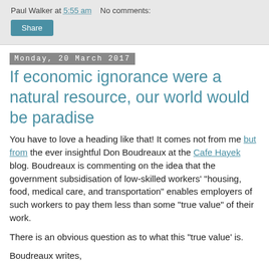Paul Walker at 5:55 am   No comments:
Share
Monday, 20 March 2017
If economic ignorance were a natural resource, our world would be paradise
You have to love a heading like that! It comes not from me but from the ever insightful Don Boudreaux at the Cafe Hayek blog. Boudreaux is commenting on the idea that the government subsidisation of low-skilled workers' "housing, food, medical care, and transportation" enables employers of such workers to pay them less than some "true value" of their work.
There is an obvious question as to what this "true value' is.
Boudreaux writes,
The central economic point is this: the welfare